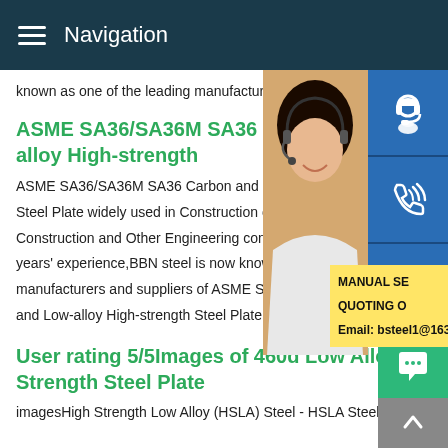Navigation
known as one of the leading manufacturers SA36/SA36M SA36 Carbon and Low-alloy Plate.
ASME SA36/SA36M SA36 Carbon and Low-alloy High-strength
ASME SA36/SA36M SA36 Carbon and Low-alloy High-strength Steel Plate widely used in Construction of Construction and Other Engineering construction. With years' experience,BBN steel is now known as one of the leading manufacturers and suppliers of ASME SA36/SA36M SA36 Carbon and Low-alloy High-strength Steel Plate.
[Figure (photo): Woman with headset smiling, customer service photo. Contact icons panel on right with headset, phone, and Skype icons. Yellow popup with MANUAL SE..., QUOTING O..., Email: bsteel1@163.com]
User rating 5/5Images of 460d Low Alloy High Strength Steel Plate
imagesHigh Strength Low Alloy (HSLA) Steel - HSLA Steel Plate.